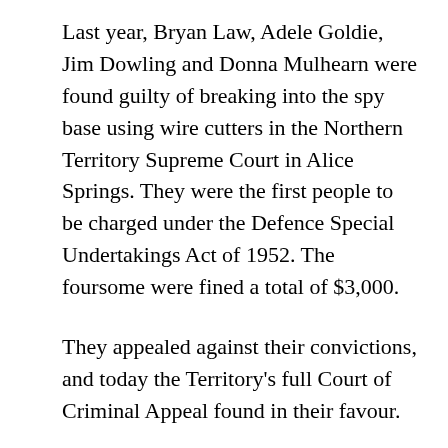Last year, Bryan Law, Adele Goldie, Jim Dowling and Donna Mulhearn were found guilty of breaking into the spy base using wire cutters in the Northern Territory Supreme Court in Alice Springs. They were the first people to be charged under the Defence Special Undertakings Act of 1952. The foursome were fined a total of $3,000.
They appealed against their convictions, and today the Territory’s full Court of Criminal Appeal found in their favour.
It’s now off to the Director of Public Prosecutions to decide whether to pursue a retrial or drop the matter.
Minor convictions for trespass and criminal damage will still stand.